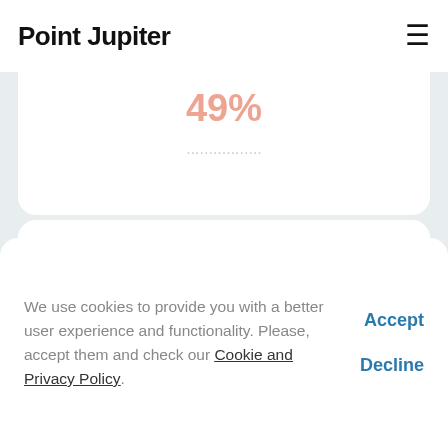Point Jupiter
[Figure (other): Top card showing 49% stat with blurred background text]
[Figure (infographic): Card showing 47% Increase in daily time on site]
We use cookies to provide you with a better user experience and functionality. Please, accept them and check our Cookie and Privacy Policy.
Accept
Decline
Services utilized